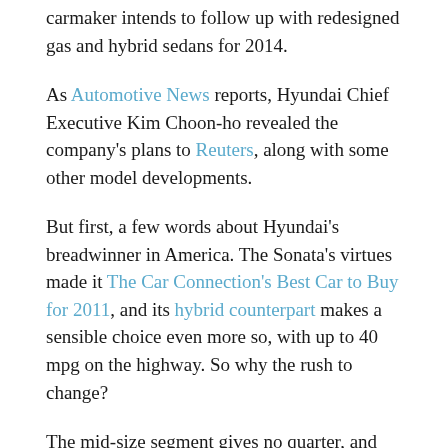carmaker intends to follow up with redesigned gas and hybrid sedans for 2014.
As Automotive News reports, Hyundai Chief Executive Kim Choon-ho revealed the company's plans to Reuters, along with some other model developments.
But first, a few words about Hyundai's breadwinner in America. The Sonata's virtues made it The Car Connection's Best Car to Buy for 2011, and its hybrid counterpart makes a sensible choice even more so, with up to 40 mpg on the highway. So why the rush to change?
The mid-size segment gives no quarter, and since the 2013 Toyota Camry gets a makeover, several domestic competitors are likely to follow suit. That means not...